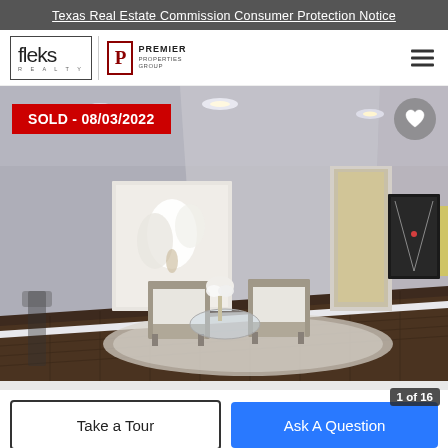Texas Real Estate Commission Consumer Protection Notice
[Figure (logo): Fleks Realty and Premier Properties Group logos with hamburger menu]
[Figure (photo): Interior living room photo showing two chairs, glass table, artwork on walls, hardwood parquet floor and area rug. Sold badge overlay reading SOLD - 08/03/2022 in top left corner. Heart/favorite button in top right corner. Image counter showing 1 of 16.]
SOLD - 08/03/2022
Take a Tour
Ask A Question
1 of 16